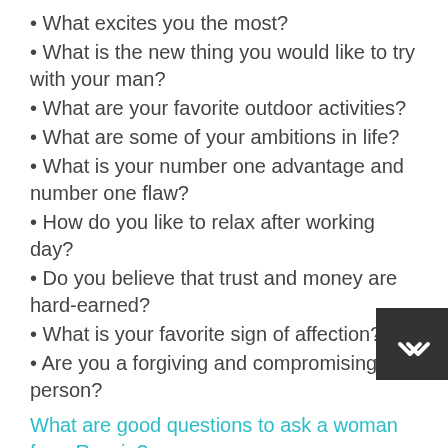• What excites you the most?
• What is the new thing you would like to try with your man?
• What are your favorite outdoor activities?
• What are some of your ambitions in life?
• What is your number one advantage and number one flaw?
• How do you like to relax after working day?
• Do you believe that trust and money are hard-earned?
• What is your favorite sign of affection?
• Are you a forgiving and compromising person?
What are good questions to ask a woman from Russia?
• What do you like and dislike about Russia?